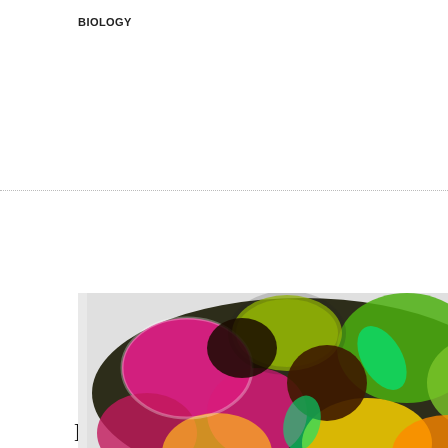BIOLOGY
Bad News – Coronavirus SARS-CoV-2 Infects Cells of the Intestine and Multiplies There
[Figure (photo): Colorful artistic/microscopic image of various food items or cells with vivid neon colors (pink, green, yellow) on a dark background]
HEALTH
MIT Research Shows How Diet Influences Colon Cancer
[Figure (other): Advertisement for Andor Technology sCMOS Cameras for Virology featuring Oxford Instruments Andor logo and an Open button]